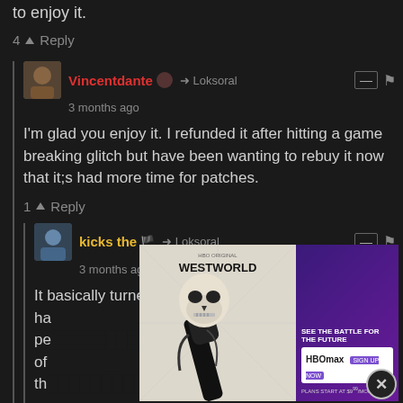to enjoy it.
4 ^ Reply
Vincentdante → Loksoral
3 months ago
I'm glad you enjoy it. I refunded it after hitting a game breaking glitch but have been wanting to rebuy it now that it;s had more time for patches.
1 ^ Reply
kicks the 🏴 → Loksoral
3 months ago
It basically turned into a hate train so people started ha[...] pe[...] e of th[...]
[Figure (screenshot): Westworld HBO Max advertisement overlay showing skull on robot arm with text 'WESTWORLD', 'SEE THE BATTLE FOR THE FUTURE', 'HBO Max', 'PLANS START AT $9.99/MONTH']